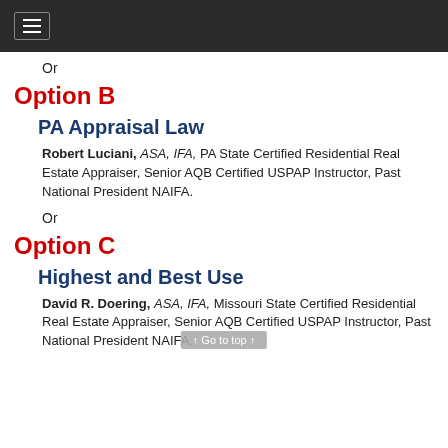≡
Or
Option B
PA Appraisal Law
Robert Luciani, ASA, IFA, PA State Certified Residential Real Estate Appraiser, Senior AQB Certified USPAP Instructor, Past National President NAIFA.
Or
Option C
Highest and Best Use
David R. Doering, ASA, IFA, Missouri State Certified Residential Real Estate Appraiser, Senior AQB Certified USPAP Instructor, Past National President NAIFA.